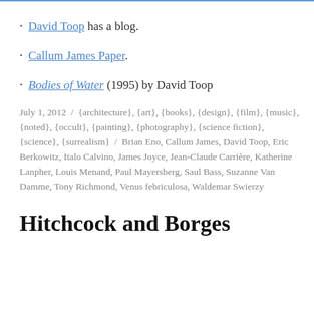David Toop has a blog.
Callum James Paper.
Bodies of Water (1995) by David Toop
July 1, 2012 / {architecture}, {art}, {books}, {design}, {film}, {music}, {noted}, {occult}, {painting}, {photography}, {science fiction}, {science}, {surrealism} / Brian Eno, Callum James, David Toop, Eric Berkowitz, Italo Calvino, James Joyce, Jean-Claude Carrière, Katherine Lanpher, Louis Menand, Paul Mayersberg, Saul Bass, Suzanne Van Damme, Tony Richmond, Venus febriculosa, Waldemar Swierzy
Hitchcock and Borges